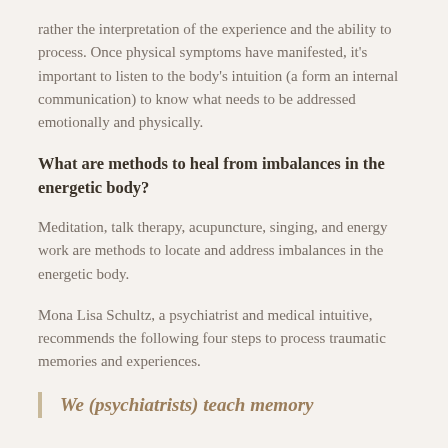rather the interpretation of the experience and the ability to process. Once physical symptoms have manifested, it's important to listen to the body's intuition (a form an internal communication) to know what needs to be addressed emotionally and physically.
What are methods to heal from imbalances in the energetic body?
Meditation, talk therapy, acupuncture, singing, and energy work are methods to locate and address imbalances in the energetic body.
Mona Lisa Schultz, a psychiatrist and medical intuitive, recommends the following four steps to process traumatic memories and experiences.
We (psychiatrists) teach memory